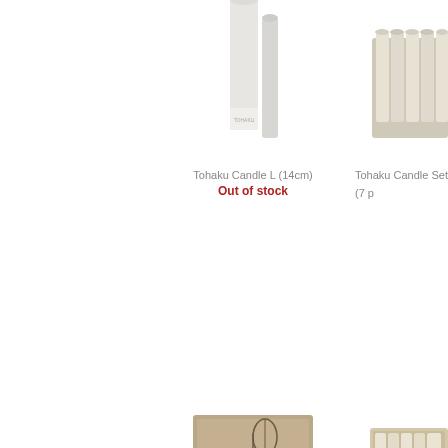[Figure (photo): White/light grey tall candle product image, partially cropped at top]
Tohaku Candle L (14cm)
Out of stock
[Figure (photo): Tohaku Candle Set (7 pieces) in box, partially cropped at right]
Tohaku Candle Set (7 p
[Figure (photo): KOME-NO-MEGUMI Candle Set box with illustration, tan/gold colored packaging]
KOME-NO-MEGUMI Candle Set (20 pieces)
[Figure (photo): Tohaku Japanese Candle set in wooden box, partially cropped at right]
Tohaku Japanese Cand